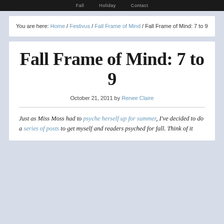Fall | Holiday | Contact
You are here: Home / Festivus / Fall Frame of Mind / Fall Frame of Mind: 7 to 9
Fall Frame of Mind: 7 to 9
October 21, 2011 by Renee Claire
Just as Miss Moss had to psyche herself up for summer, I've decided to do a series of posts to get myself and readers psyched for fall. Think of it